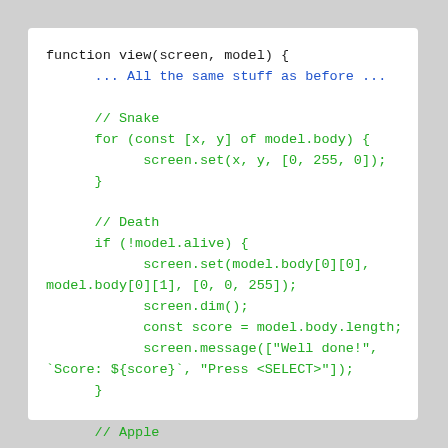[Figure (screenshot): Code block showing a JavaScript function view(screen, model) with Snake, Death, and Apple sections rendered in monospace font. Black for structure, blue for ellipsis comment, green for code body.]